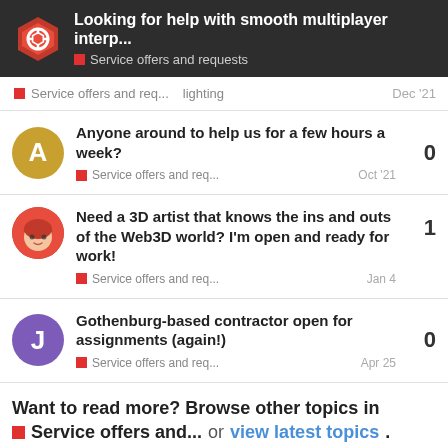Looking for help with smooth multiplayer interp... | Service offers and requests
Service offers and req... | lighting | Dec '21
Anyone around to help us for a few hours a week? | Service offers and req... | Oct '21 | 0 replies
Need a 3D artist that knows the ins and outs of the Web3D world? I'm open and ready for work! | Service offers and req... | Jan 4 | 1 reply
Gothenburg-based contractor open for assignments (again!) | Service offers and req... | Apr 25 | 0 replies
Want to read more? Browse other topics in Service offers and... or view latest topics.